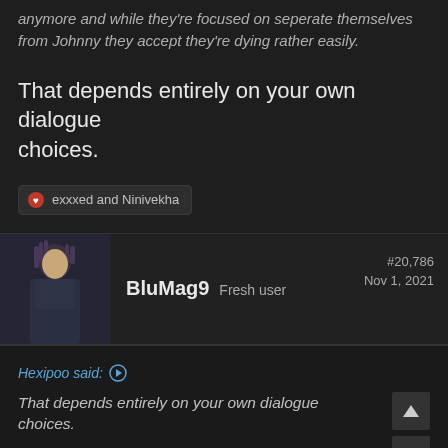anymore and while they're focused on seperate themselves from Johnny they accept they're dying rather easily.
That depends entirely on your own dialogue choices.
exxxed and Ninivekha
BluMag9  Fresh user  #20,786  Nov 1, 2021
Hexipoo said:
That depends entirely on your own dialogue choices.
not really, what V says to Vik about being his